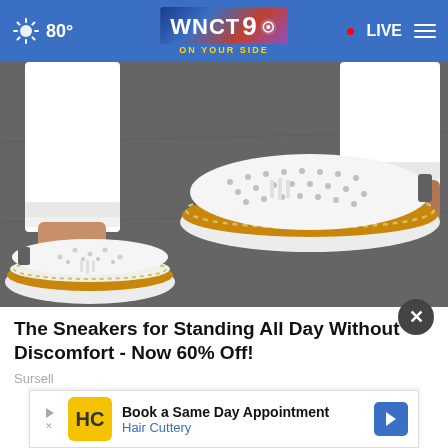80° WNCT9 ON YOUR SIDE • LIVE
[Figure (photo): Close-up photo of a person's feet wearing white perforated slip-on sneakers with tan/brown soles and white stitching detail, standing on pavement. The person is wearing white rolled-up trousers.]
The Sneakers for Standing All Day Without Discomfort - Now 60% Off!
Sursell
[Figure (screenshot): Advertisement banner: Book a Same Day Appointment - Hair Cuttery, with HC logo in yellow and navigation arrow icon in blue.]